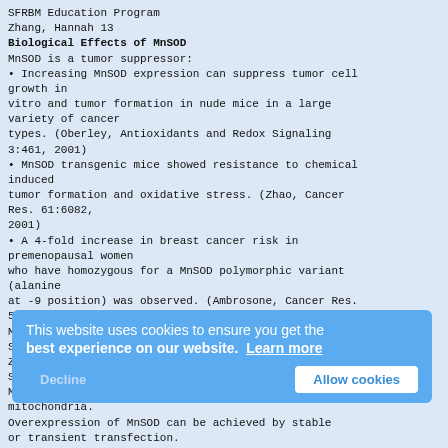SFRBM Education Program
Zhang, Hannah 13
Biological Effects of MnSOD
MnSOD is a tumor suppressor:
Increasing MnSOD expression can suppress tumor cell growth in vitro and tumor formation in nude mice in a large variety of cancer types. (Oberley, Antioxidants and Redox Signaling 3:461, 2001)
MnSOD transgenic mice showed resistance to chemical induced tumor formation and oxidative stress. (Zhao, Cancer Res. 61:6082, 2001)
A 4-fold increase in breast cancer risk in premenopausal women who have homozygous for a MnSOD polymorphic variant (alanine at -9 position) was observed. (Ambrosone, Cancer Res. 59:603, 1999)
MnSOD
SFRBM Education Program
Zhang, Hannah 14
Summary
MnSOD is an critical antioxidant enzyme residing in mitochondria.
Overexpression of MnSOD can be achieved by stable or transient transfection.
MnSOD plays important and essential biological functions in aerobic life.
MnSOD